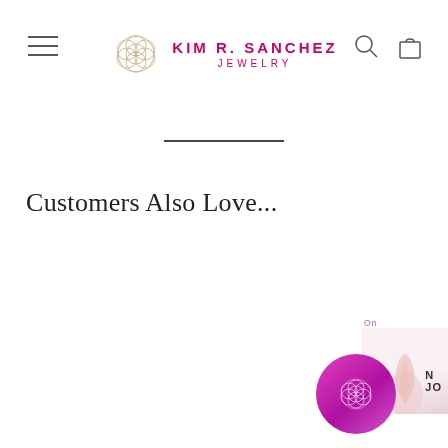KIM R. SANCHEZ JEWELRY
Customers Also Love...
[Figure (screenshot): Partial product image on right side, showing a light pink jewelry item, partially cropped]
On
C
N JO
[Figure (logo): Magenta/pink gradient circle with Kim R. Sanchez jewelry logo flower of life symbol inside]